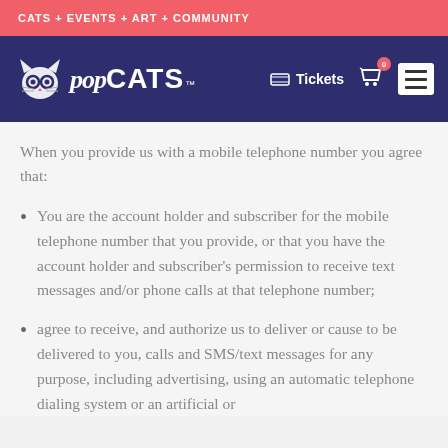CATS + EVENTS + ART + COMMUNITY
[Figure (logo): PopCats logo with cat icon, stylized script 'pop' and bold 'CATS' text, with Tickets button, cart icon with badge showing 0, and hamburger menu button on dark blue navigation bar]
When you provide us with a mobile telephone number you agree that:
You are the account holder and subscriber for the mobile telephone number that you provide, or that you have the account holder and subscriber's permission to receive text messages and/or phone calls at that telephone number;
agree to receive, and authorize us to deliver or cause to be delivered to you, calls and SMS/text messages for any purpose, including advertising, using an automatic telephone dialing system or an artificial or